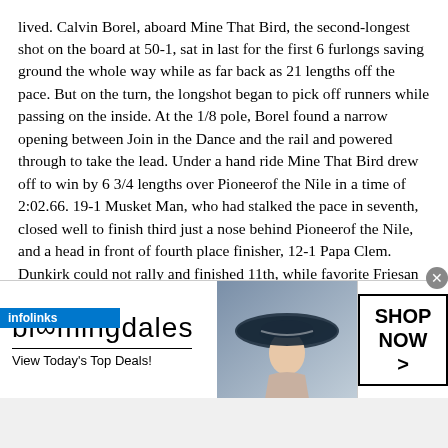lived. Calvin Borel, aboard Mine That Bird, the second-longest shot on the board at 50-1, sat in last for the first 6 furlongs saving ground the whole way while as far back as 21 lengths off the pace. But on the turn, the longshot began to pick off runners while passing on the inside. At the 1/8 pole, Borel found a narrow opening between Join in the Dance and the rail and powered through to take the lead. Under a hand ride Mine That Bird drew off to win by 6 3/4 lengths over Pioneerof the Nile in a time of 2:02.66. 19-1 Musket Man, who had stalked the pace in seventh, closed well to finish third just a nose behind Pioneerof the Nile, and a head in front of fourth place finisher, 12-1 Papa Clem. Dunkirk could not rally and finished 11th, while favorite Friesan Fire came out wide for the drive but showed no late response, finishing a disappointing 18th beaten 42 1/2 lengths. The winning payoff of $103.20 is the second highest in Derby history. 1919 winner Donerail still holds the record with his $184.90 mutuel.
There were five other stakes races on the card with the Derby. Full ... all of them with more photos are here
[Figure (other): Bloomingdale's advertisement banner with woman in wide-brim hat, logo, tagline 'View Today's Top Deals!' and 'SHOP NOW >' button]